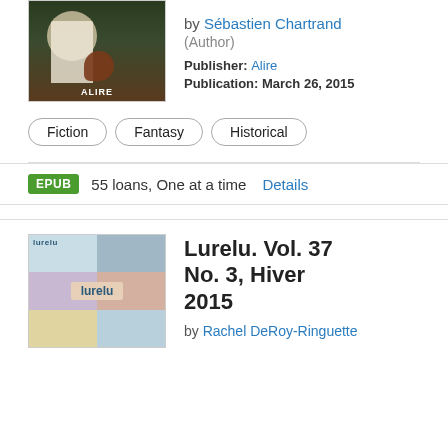[Figure (illustration): Book cover for a fantasy novel published by Alire, showing a girl in a white dress and a creature, dark forest background with 'ALIRE' label at bottom]
by Sébastien Chartrand (Author)
Publisher: Alire
Publication: March 26, 2015
Fiction
Fantasy
Historical
EPUB  55 loans, One at a time  Details
[Figure (illustration): Book cover for Lurelu magazine, a light blue mosaic grid with photos and 'lurelu' badge in center]
Lurelu. Vol. 37 No. 3, Hiver 2015
by Rachel DeRoy-Ringuette